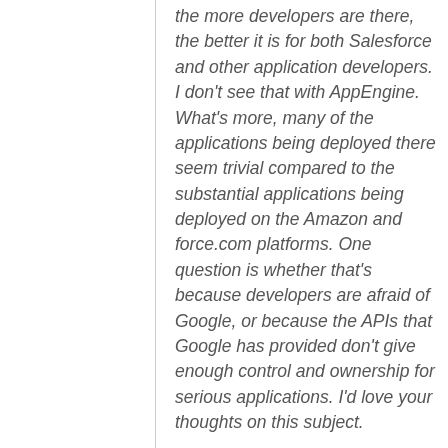the more developers are there, the better it is for both Salesforce and other application developers. I don't see that with AppEngine. What's more, many of the applications being deployed there seem trivial compared to the substantial applications being deployed on the Amazon and force.com platforms. One question is whether that's because developers are afraid of Google, or because the APIs that Google has provided don't give enough control and ownership for serious applications. I'd love your thoughts on this subject.
3. Cloud-based end-user applications. Any web application is a cloud application in the sense that it resides in the cloud. Google, Amazon, Facebook,